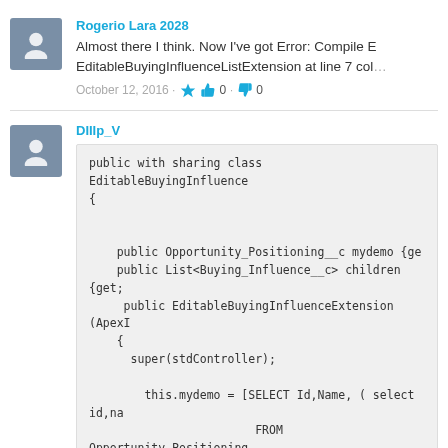Rogerio Lara 2028
Almost there I think. Now I've got Error: Compile E... EditableBuyingInfluenceListExtension at line 7 col...
October 12, 2016 · 👍 0 · 👎 0
DIIIp_V
public with sharing class EditableBuyingInfluence...
{


    public Opportunity_Positioning__c mydemo {ge...
    public List<Buying_Influence__c> children {get;...
     public EditableBuyingInfluenceExtension (ApexI...
    {
      super(stdController);

        this.mydemo = [SELECT Id,Name, ( select id,na...
                           FROM Opportunity_Positioning_...
                           WHERE Id =: stdController.getRe...

        this.childList = [SELECT Id,...